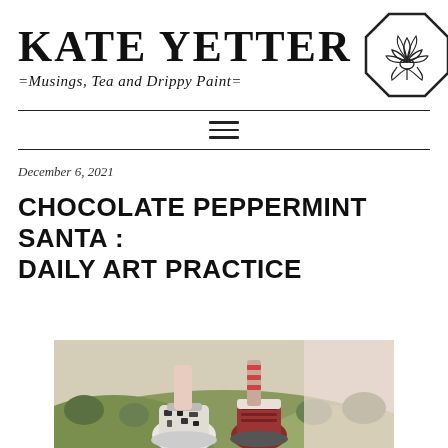[Figure (logo): Kate Yetter blog logo with brand name 'KATE YETTER' in bold serif, tagline '=Musings, Tea and Drippy Paint=' in italic, and an octagonal lotus flower illustration to the right]
December 6, 2021
CHOCOLATE PEPPERMINT SANTA : DAILY ART PRACTICE
[Figure (photo): Partial photo visible at bottom of page showing feet/shoes in an outdoor setting with green fields in the background]